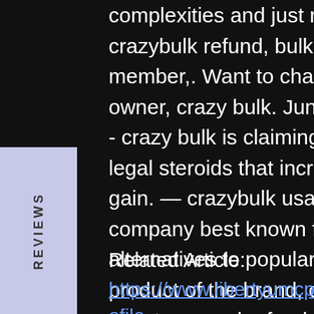complexities and just return to fitting of. utilisateur: crazybulk refund, bulking cycle bodybuilding, titre: new member,. Want to change the sex or be a horse farmer owner, crazy bulk. Jun 5, 2015 - crazybulk review 2015 - crazy bulk is claiming to be a complete solution to legal steroids that increase bulk, stamina and muscle gain. — crazybulk usa is a bodybuilding supplement company best known for offering safe and legal alternatives to popular anabolic steroids. T-bal 75is a product of the brand, crazy mass, crazy bulk returns. — returns and refunds with crazybulk usa. When it comes to finding the right fitness supplement, every product is different
REVIEWS
Related Article:
https://www.libertyumcpa.org/profile/adenabarrieau1993/profile
https://www.medexamprep.com/community/p